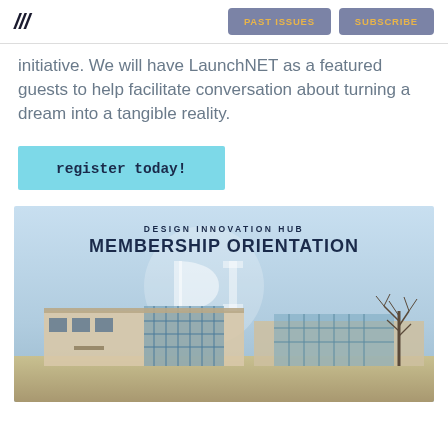/// | PAST ISSUES | SUBSCRIBE
initiative. We will have LaunchNET as a featured guests to help facilitate conversation about turning a dream into a tangible reality.
register today!
[Figure (photo): Design Innovation Hub Membership Orientation banner with photo of a modern building exterior against a light blue sky, with a tree on the right side. The DI logo watermark appears in the background. Text overlay reads: DESIGN INNOVATION HUB / MEMBERSHIP ORIENTATION]